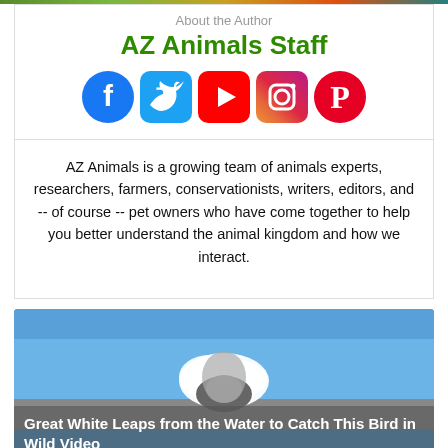[Figure (photo): Colorful top image strip/banner at top of page]
About the Author
AZ Animals Staff
[Figure (infographic): Social media icons: Facebook, Twitter, YouTube, Instagram, Pinterest]
AZ Animals is a growing team of animals experts, researchers, farmers, conservationists, writers, editors, and -- of course -- pet owners who have come together to help you better understand the animal kingdom and how we interact.
[Figure (photo): Great white shark leaping from water with blue sky background. Title overlay: Great White Leaps from the Water to Catch This Bird in Wild Video]